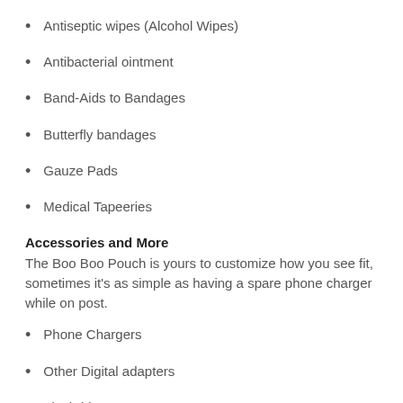Antiseptic wipes (Alcohol Wipes)
Antibacterial ointment
Band-Aids to Bandages
Butterfly bandages
Gauze Pads
Medical Tapeeries
Accessories and More
The Boo Boo Pouch is yours to customize how you see fit, sometimes it's as simple as having a spare phone charger while on post.
Phone Chargers
Other Digital adapters
Flashdrives
Easy Access Pull Tab